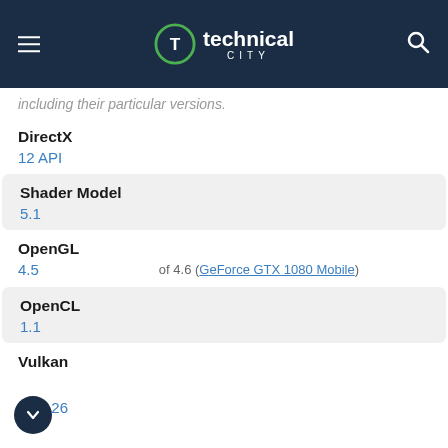technical city
including their particular versions.
DirectX
12 API
Shader Model
5.1
OpenGL
4.5  of 4.6 (GeForce GTX 1080 Mobile)
OpenCL
1.1
Vulkan
1.1.126